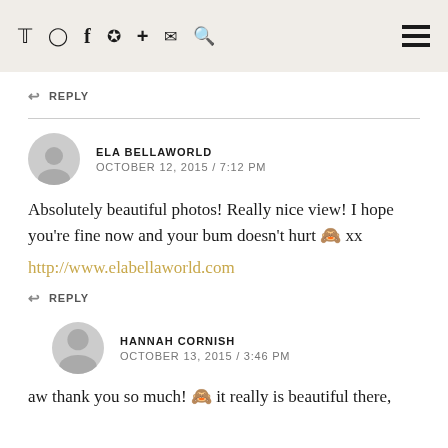Twitter Instagram Facebook Pinterest + Mail Search [hamburger menu]
↩ REPLY
ELA BELLAWORLD
OCTOBER 12, 2015 / 7:12 PM
Absolutely beautiful photos! Really nice view! I hope you're fine now and your bum doesn't hurt 🙈 xx
http://www.elabellaworld.com
↩ REPLY
HANNAH CORNISH
OCTOBER 13, 2015 / 3:46 PM
aw thank you so much! 🙈 it really is beautiful there,